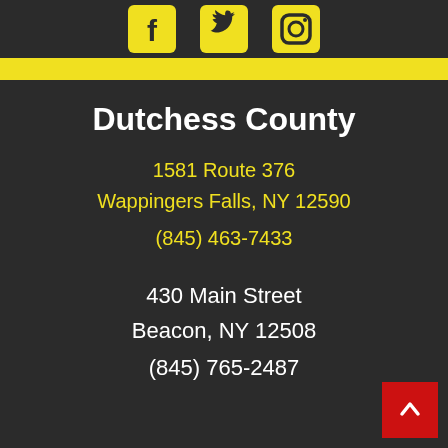[Figure (illustration): Social media icons: Facebook, Twitter, Instagram in yellow on dark background]
Dutchess County
1581 Route 376
Wappingers Falls, NY 12590
(845) 463-7433
430 Main Street
Beacon, NY 12508
(845) 765-2487